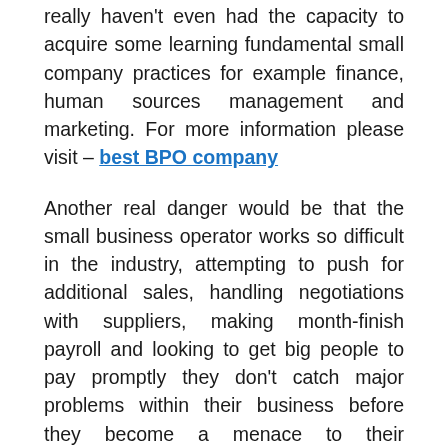really haven't even had the capacity to acquire some learning fundamental small company practices for example finance, human sources management and marketing. For more information please visit – best BPO company
Another real danger would be that the small business operator works so difficult in the industry, attempting to push for additional sales, handling negotiations with suppliers, making month-finish payroll and looking to get big people to pay promptly they don't catch major problems within their business before they become a menace to their companies survival.
Newspaper reports lately established that about 4,000 companies went insolvent in 2013. The reasons of these business failures are it reported to be comprising...